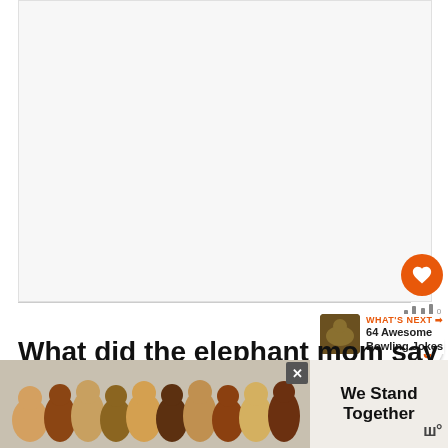[Figure (other): Large white/light gray blank content area, likely a video or image placeholder]
What did the elephant mom say to when he complained about her son's an
[Figure (photo): Advertisement banner showing group of people hugging from behind with text 'We Stand Together']